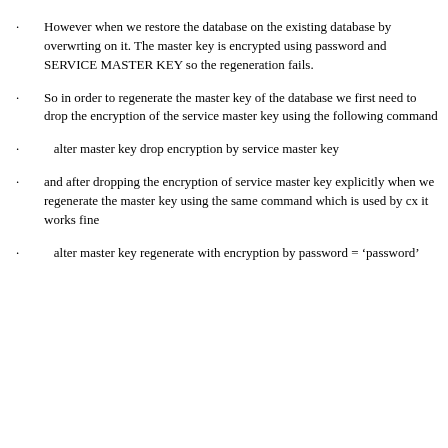However when we restore the database on the existing database by overwrting on it. The master key is encrypted using password and SERVICE MASTER KEY so the regeneration fails.
So in order to regenerate the master key of the database we first need to drop the encryption of the service master key using the following command
alter master key drop encryption by service master key
and after dropping the encryption of service master key explicitly when we regenerate the master key using the same command which is used by cx it works fine
alter master key regenerate with encryption by password = ‘password’